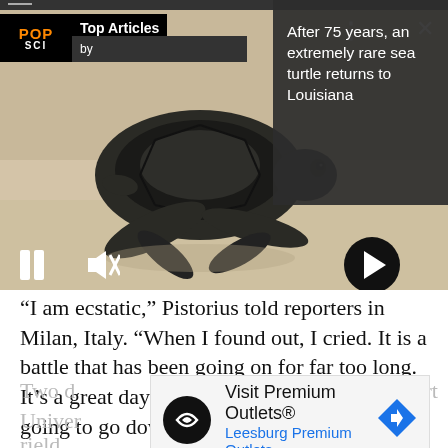[Figure (screenshot): Screenshot of a mobile news reader app showing a baby sea turtle on a sandy beach. The video player interface shows POP SCI Top Articles widget in the top left, a dark overlay article card in the top right, and media controls (pause, mute, next arrow) at the bottom of the video panel.]
“I am ecstatic,” Pistorius told reporters in Milan, Italy. “When I found out, I cried. It is a battle that has been going on for far too long. It’s a great day for sport. I think this day is going to go down in history for the equality of disabled people.”
[Figure (screenshot): Advertisement overlay: Visit Premium Outlets® / Leesburg Premium Outlets with navigation icon]
Two d… ort Univer… rield…